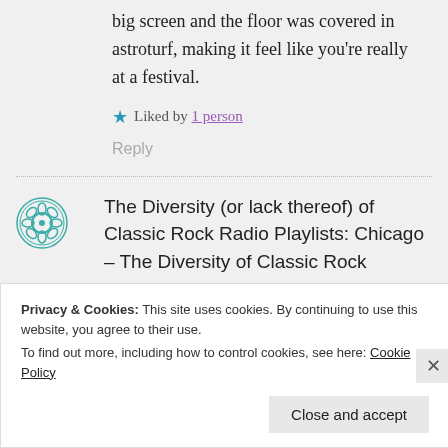big screen and the floor was covered in astroturf, making it feel like you're really at a festival.
★ Liked by 1 person
Reply
The Diversity (or lack thereof) of Classic Rock Radio Playlists: Chicago – The Diversity of Classic Rock
Privacy & Cookies: This site uses cookies. By continuing to use this website, you agree to their use.
To find out more, including how to control cookies, see here: Cookie Policy
Close and accept